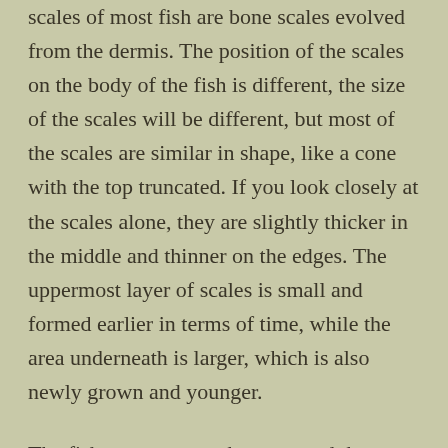scales of most fish are bone scales evolved from the dermis. The position of the scales on the body of the fish is different, the size of the scales will be different, but most of the scales are similar in shape, like a cone with the top truncated. If you look closely at the scales alone, they are slightly thicker in the middle and thinner on the edges. The uppermost layer of scales is small and formed earlier in terms of time, while the area underneath is larger, which is also newly grown and younger.
The fish grow up year by year, and the scales are gradually increasing. Under normal circumstances, the temperature is suitable in spring and summer, and the food for fish is relatively sufficient, so spring and